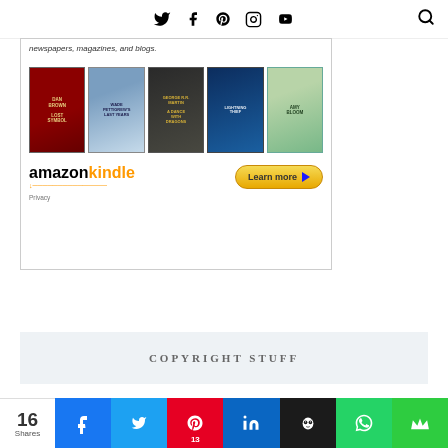Social media nav icons: Twitter, Facebook, Pinterest, Instagram, YouTube, Search
[Figure (screenshot): Amazon Kindle advertisement banner showing book covers (Dan Brown Lost Symbol, Wade Pettigrew's Last Years, George R.R. Martin A Dance with Dragons, Percy Jackson, Amy Bloom) with Amazon Kindle logo and Learn more button. Privacy label at bottom left.]
COPYRIGHT STUFF
[Figure (infographic): Social share bar showing 16 Shares count and colored share buttons for Facebook, Twitter (13), Pinterest, LinkedIn, Hootsuite, WhatsApp, and a crown icon button.]